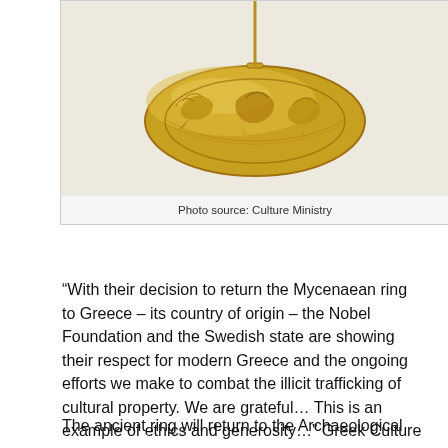[Figure (photo): Close-up photo of a gold Mycenaean signet ring with engraved decoration showing figures or birds on an oval bezel, hanging from a chain or loop at the top.]
Photo source: Culture Ministry
“With their decision to return the Mycenaean ring to Greece – its country of origin – the Nobel Foundation and the Swedish state are showing their respect for modern Greece and the ongoing efforts we make to combat the illicit trafficking of cultural property. We are grateful… This is an example of ethics and generosity…” Greek Culture Minister Lina Mendoni said.
The ancient ring will return to the Archaeological